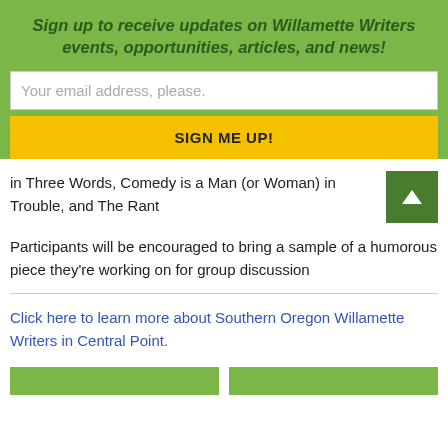Sign up to receive updates on Willamette Writers events, opportunities, articles, and news!
Your email address, please.
SIGN ME UP!
in Three Words, Comedy is a Man (or Woman) in Trouble, and The Rant
Participants will be encouraged to bring a sample of a humorous piece they're working on for group discussion
Click here to learn more about Southern Oregon Willamette Writers in Central Point.